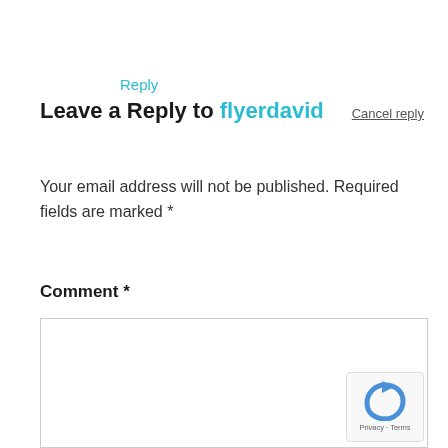Reply
Leave a Reply to flyerdavid  Cancel reply
Your email address will not be published. Required fields are marked *
Comment *
[Figure (other): Empty comment text area input box with border]